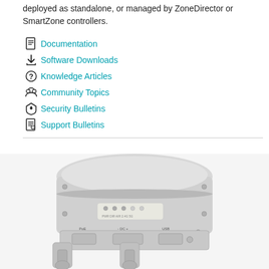deployed as standalone, or managed by ZoneDirector or SmartZone controllers.
Documentation
Software Downloads
Knowledge Articles
Community Topics
Security Bulletins
Support Bulletins
[Figure (photo): Outdoor wireless access point device (Ruckus outdoor AP), white/grey enclosure, showing PoE, DC+, and USB ports at the bottom, with LED indicators and label on front panel. Mounting hardware visible.]